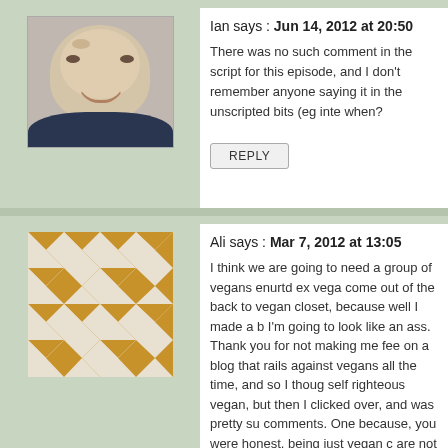[Figure (photo): Profile photo of a smiling man in a dark jacket]
Ian says : Jun 14, 2012 at 20:50
There was no such comment in the script for this episode, and I don't remember anyone saying it in the unscripted bits (eg interviews). Do you remember when?
REPLY
[Figure (illustration): Decorative quilt pattern avatar with brown and white triangles]
Ali says : Mar 7, 2012 at 13:05
I think we are going to need a group of vegans enurtd ex vega come out of the back to vegan closet, because well I made a b I'm going to look like an ass. Thank you for not making me fee on a blog that rails against vegans all the time, and so I thoug self righteous vegan, but then I clicked over, and was pretty su comments. One because, you were honest, being just vegan c are not a jerk, even in your comments.So, ok, when I was veg awesome, I lost weight, I was running marathons, I was a sex that I work out a lot to eat some occasional junk food, like fake and less whole vegetables, and what became a treat became whatever they are called in the organic section for breakfast, l and a soda for lunch almost every day, I was eating pasta with working out, but my times sucked, I felt awful and I blamed be